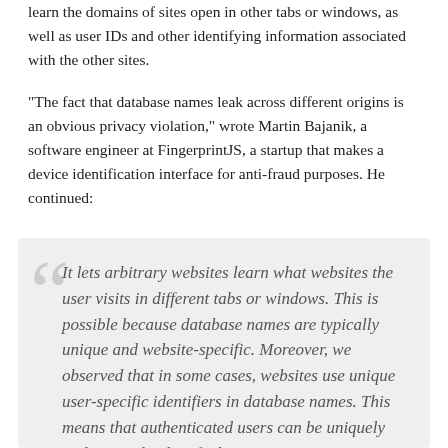learn the domains of sites open in other tabs or windows, as well as user IDs and other identifying information associated with the other sites.
"The fact that database names leak across different origins is an obvious privacy violation," wrote Martin Bajanik, a software engineer at FingerprintJS, a startup that makes a device identification interface for anti-fraud purposes. He continued:
It lets arbitrary websites learn what websites the user visits in different tabs or windows. This is possible because database names are typically unique and website-specific. Moreover, we observed that in some cases, websites use unique user-specific identifiers in database names. This means that authenticated users can be uniquely and precisely identified.